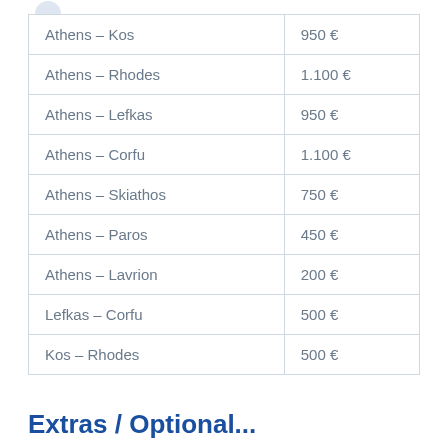| Route | Price |
| --- | --- |
| Athens – Kos | 950 € |
| Athens – Rhodes | 1.100 € |
| Athens – Lefkas | 950 € |
| Athens – Corfu | 1.100 € |
| Athens – Skiathos | 750 € |
| Athens – Paros | 450 € |
| Athens – Lavrion | 200 € |
| Lefkas – Corfu | 500 € |
| Kos – Rhodes | 500 € |
Extras / Optional...